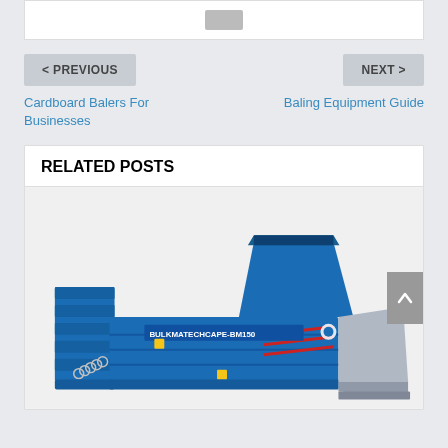[Figure (other): Top white box with a small gray placeholder image/icon]
< PREVIOUS
NEXT >
Cardboard Balers For Businesses
Baling Equipment Guide
RELATED POSTS
[Figure (photo): Photo of a large blue horizontal baling machine labeled BULKMATECHCAPE-BM150, with a hopper on top, conveyor, and chains visible]